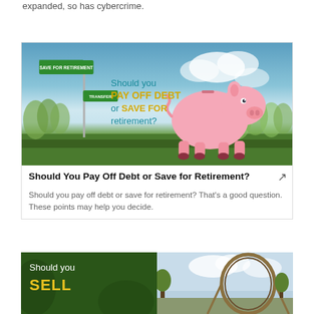expanded, so has cybercrime.
[Figure (illustration): Article thumbnail image: a pink cartoon piggy bank standing at a road sign intersection. One green sign reads 'SAVE FOR RETIREMENT' and another reads 'TRANSFER'. The image text asks 'Should you PAY OFF DEBT or SAVE FOR retirement?' against a sky-and-trees background.]
Should You Pay Off Debt or Save for Retirement?
Should you pay off debt or save for retirement? That’s a good question. These points may help you decide.
[Figure (illustration): Bottom card showing two article thumbnails side by side. Left: dark green background with white text 'Should you' and yellow bold text 'SELL'. Right: photo of a roller coaster loop against a cloudy sky.]